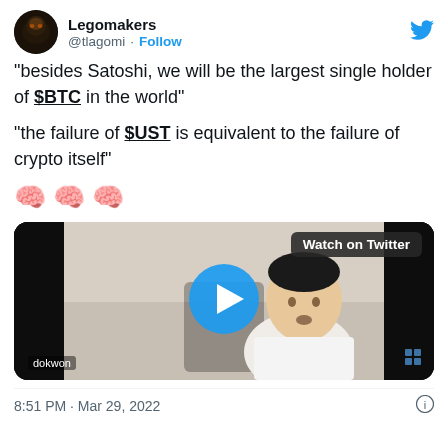Legomakers @tlagomi · Follow
“besides Satoshi, we will be the largest single holder of $BTC in the world”
“the failure of $UST is equivalent to the failure of crypto itself”
🧠 🧠 🧠
[Figure (screenshot): Video thumbnail showing a man in a white shirt sitting in a chair, with a blue play button overlay and a 'Watch on Twitter' badge. Label 'dokwon' in lower left.]
8:51 PM · Mar 29, 2022